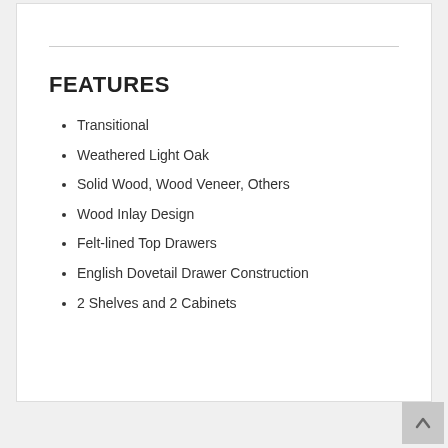FEATURES
Transitional
Weathered Light Oak
Solid Wood, Wood Veneer, Others
Wood Inlay Design
Felt-lined Top Drawers
English Dovetail Drawer Construction
2 Shelves and 2 Cabinets